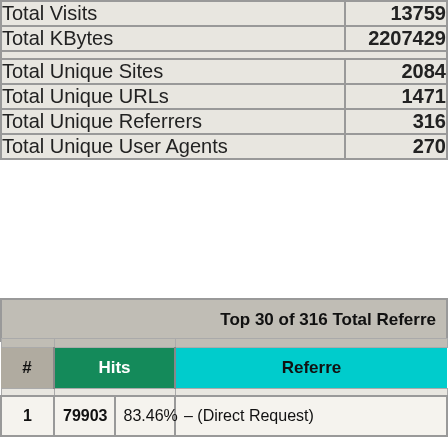| Metric | Value |
| --- | --- |
| Total Visits | 13759 |
| Total KBytes | 2207429 |
| Total Unique Sites | 2084 |
| Total Unique URLs | 1471 |
| Total Unique Referrers | 316 |
| Total Unique User Agents | 270 |
Top 30 of 316 Total Referrers
| # | Hits |  | Referrers |
| --- | --- | --- | --- |
| 1 | 79903 | 83.46% | – (Direct Request) |